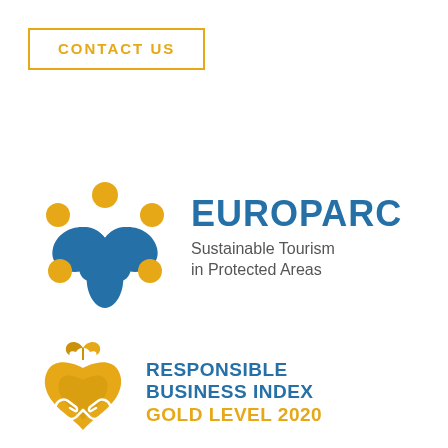CONTACT US
[Figure (logo): EUROPARC Sustainable Tourism in Protected Areas logo — blue star/people figure with orange circles, next to text EUROPARC Sustainable Tourism in Protected Areas]
[Figure (logo): Responsible Business Index Gold Level 2020 logo — golden heart/handshake icon with leaves, next to text RESPONSIBLE BUSINESS INDEX GOLD LEVEL 2020]